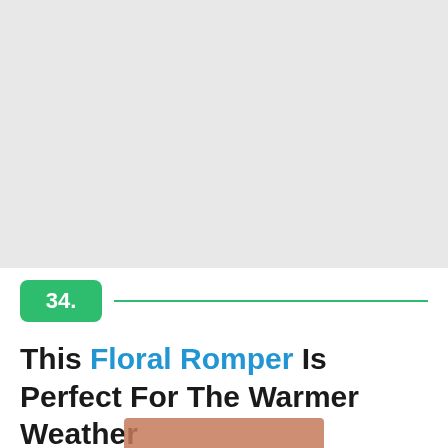[Figure (photo): Large light gray placeholder area at top of page, representing an image]
34.
This Floral Romper Is Perfect For The Warmer Weather
[Figure (photo): Partial photo visible at bottom of page, brownish/warm tones]